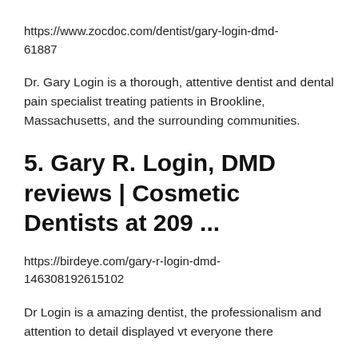https://www.zocdoc.com/dentist/gary-login-dmd-61887
Dr. Gary Login is a thorough, attentive dentist and dental pain specialist treating patients in Brookline, Massachusetts, and the surrounding communities.
5. Gary R. Login, DMD reviews | Cosmetic Dentists at 209 ...
https://birdeye.com/gary-r-login-dmd-146308192615102
Dr Login is a amazing dentist, the professionalism and attention to detail displayed vt everyone there